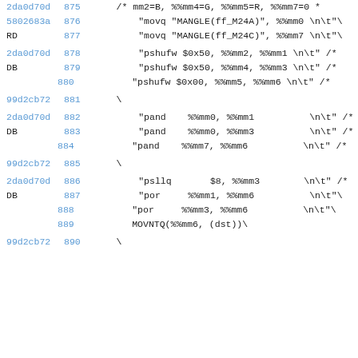2da0d70d 875   /* mm2=B, %%mm4=G, %%mm5=R, %%mm7=0 *
5802683a 876       "movq "MANGLE(ff_M24A)", %%mm0 \n\t"\
RD
877       "movq "MANGLE(ff_M24C)", %%mm7 \n\t"\
2da0d70d 878       "pshufw $0x50, %%mm2, %%mm1 \n\t" /*
DB
879       "pshufw $0x50, %%mm4, %%mm3 \n\t" /*
880       "pshufw $0x00, %%mm5, %%mm6 \n\t" /*
99d2cb72 881   \
2da0d70d 882       "pand    %%mm0, %%mm1          \n\t" /*
DB
883       "pand    %%mm0, %%mm3          \n\t" /*
884       "pand    %%mm7, %%mm6          \n\t" /*
99d2cb72 885   \
2da0d70d 886       "psllq       $8, %%mm3        \n\t" /*
DB
887       "por     %%mm1, %%mm6          \n\t"\
888       "por     %%mm3, %%mm6          \n\t"\
889       MOVNTQ(%%mm6, (dst))\
99d2cb72 890   \